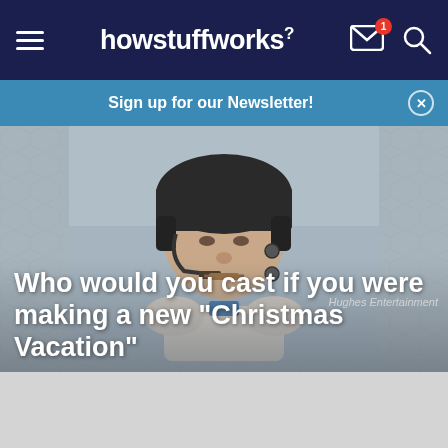howstuffworks
Sign up for our Newsletter!
[Figure (photo): Man wearing a black helmet and headset, holding a cigar in his mouth. Movie still from Hughes Entertainment. Background is wintry/outdoors.]
Hughes Entertainment
Who would you cast if you were making a new "Christmas Vacation"